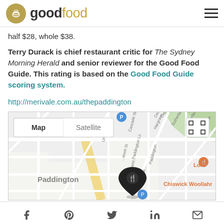good food
half $28, whole $38.
Terry Durack is chief restaurant critic for The Sydney Morning Herald and senior reviewer for the Good Food Guide. This rating is based on the Good Food Guide scoring system.
http://merivale.com.au/thepaddington
[Figure (map): Google Map showing Paddington area with restaurant pin marker, Map/Satellite toggle, and nearby landmarks including Chiswick Woollahr and Lord]
Social share icons: Facebook, Pinterest, Twitter, LinkedIn, Email